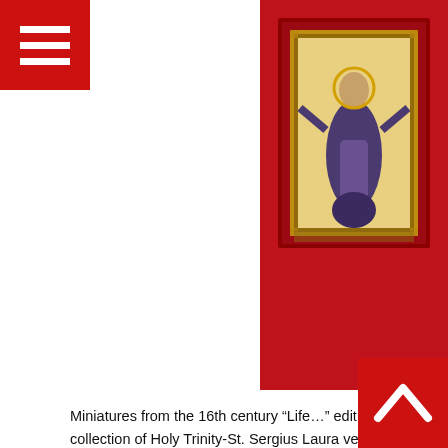[Figure (photo): Red book cover with an icon/miniature of a saint (Sergius of Radonezh) in the center, framed with ornate golden border. The saint figure is depicted standing with arms raised.]
Miniatures from the 16th century “Life…” edition, collection of Holy Trinity-St. Sergius Laura vestry. Album
The album about the reverend abbot Sergius of Radonezh, the founder of Holy Trinity –St. Sergius Laura, contains original miniatures from the 16th century “Life…” edition, kept at the Laura vestry. The miniatures present the main events St. Sergius’s  life and endeavors.
Publication of the album about Sergius of Radonezh, the saint Russian hermit, was blessed by His Holiness Alexis II